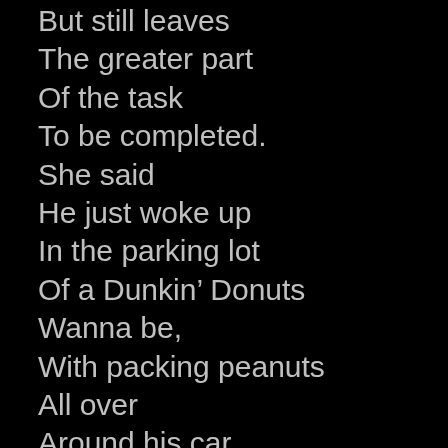But still leaves
The greater part
Of the task
To be completed.
She said
He just woke up
In the parking lot
Of a Dunkin’ Donuts
Wanna be,
With packing peanuts
All over
Around his car,
And the remains